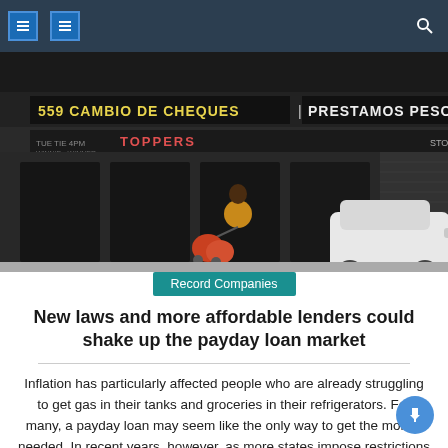navigation bar with menu icons and search
[Figure (photo): Street scene in front of a check-cashing and payday loan storefront with signs reading '559 CAMBIO DE CHEQUES' and 'PRESTAMOS PESOS'. A person in a yellow jacket pushes a cart with orange bags past the store. A white car is visible on the right.]
Record Companies
New laws and more affordable lenders could shake up the payday loan market
Inflation has particularly affected people who are already struggling to get gas in their tanks and groceries in their refrigerators. For many, a payday loan may seem like the only way to get the money needed. In recent years, however, as more states impose restrictions on risky short-term lending, new lenders have emerged offering small, [...]